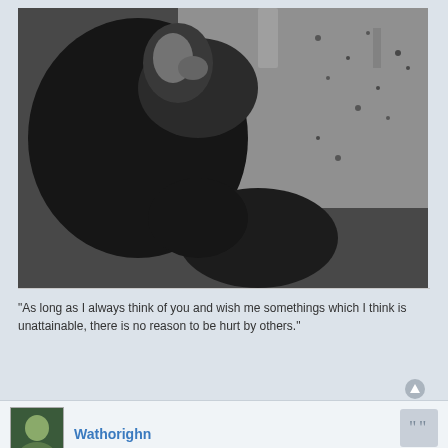[Figure (photo): Black and white photograph of a person in dark clothing, possibly outdoors against a stone or textured wall background. A second person appears partially visible in the lower portion of the image.]
"As long as I always think of you and wish me somethings which I think is unattainable, there is no reason to be hurt by others."
Wathorighn
Re: Game - Guess the MacGyver screenshot